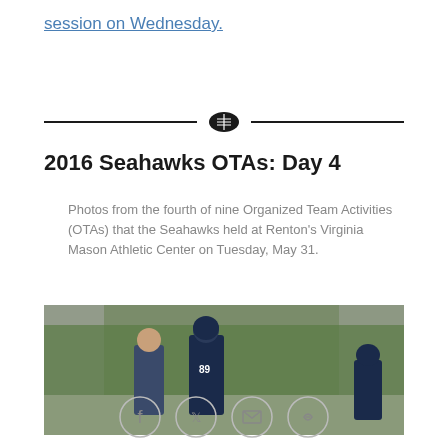session on Wednesday.
[Figure (other): Football divider icon with horizontal lines on either side]
2016 Seahawks OTAs: Day 4
Photos from the fourth of nine Organized Team Activities (OTAs) that the Seahawks held at Renton's Virginia Mason Athletic Center on Tuesday, May 31.
[Figure (photo): Coach and player number 89 in Seahawks uniform talking on a practice field with green trees in the background]
[Figure (other): Social share icons: Facebook, Twitter, Email, Link]